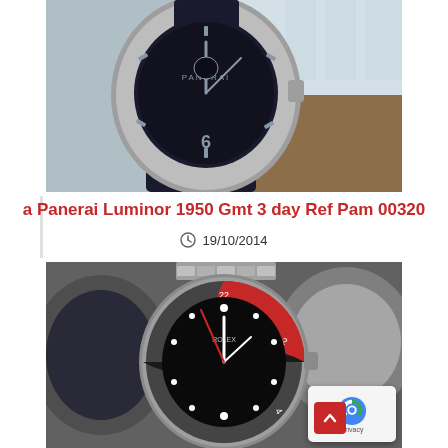[Figure (photo): Close-up photo of a Panerai Luminor 1950 GMT 3 day watch with dark navy dial, Arabic numerals, and dark rubber strap, placed on a surface with blurred background]
a Panerai Luminor 1950 Gmt 3 day Ref Pam 00320
19/10/2014
[Figure (photo): Close-up photo of a Rolex GMT Master II watch with black dial and red/black Pepsi bezel on a metal bracelet, surrounded by other watch dials in background, with a reCAPTCHA privacy badge overlay in bottom right corner]